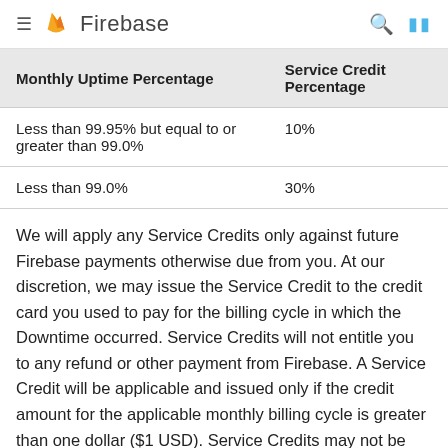Firebase
| Monthly Uptime Percentage | Service Credit Percentage |
| --- | --- |
| Less than 99.95% but equal to or greater than 99.0% | 10% |
| Less than 99.0% | 30% |
We will apply any Service Credits only against future Firebase payments otherwise due from you. At our discretion, we may issue the Service Credit to the credit card you used to pay for the billing cycle in which the Downtime occurred. Service Credits will not entitle you to any refund or other payment from Firebase. A Service Credit will be applicable and issued only if the credit amount for the applicable monthly billing cycle is greater than one dollar ($1 USD). Service Credits may not be transferred or applied to any other account. Unless